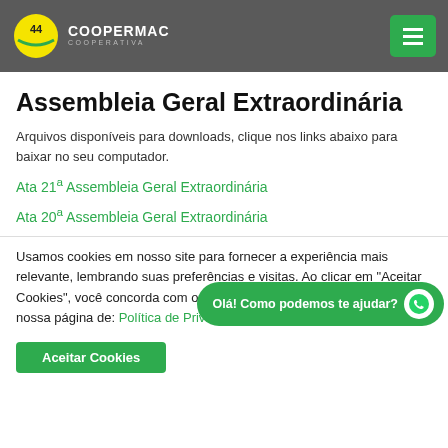[Figure (logo): Coopermac Cooperativa logo with yellow circle and white text on dark header background]
Assembleia Geral Extraordinária
Arquivos disponíveis para downloads, clique nos links abaixo para baixar no seu computador.
Ata 21ª Assembleia Geral Extraordinária
Ata 20ª Assembleia Geral Extraordinária
Usamos cookies em nosso site para fornecer a experiência mais relevante, lembrando suas preferências e visitas. Ao clicar em "Aceitar Cookies", você concorda com o uso de TODOS os cookies. Visite nossa página de: Política de Privacidade e Segurança
Aceitar Cookies